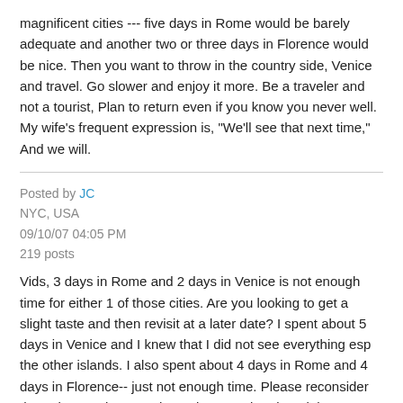magnificent cities --- five days in Rome would be barely adequate and another two or three days in Florence would be nice. Then you want to throw in the country side, Venice and travel. Go slower and enjoy it more. Be a traveler and not a tourist, Plan to return even if you know you never well. My wife's frequent expression is, "We'll see that next time," And we will.
Posted by JC
NYC, USA
09/10/07 04:05 PM
219 posts
Vids, 3 days in Rome and 2 days in Venice is not enough time for either 1 of those cities. Are you looking to get a slight taste and then revisit at a later date? I spent about 5 days in Venice and I knew that I did not see everything esp the other islands. I also spent about 4 days in Rome and 4 days in Florence-- just not enough time. Please reconsider the 5 days and stay at the 1 city to explore it and the surrounding area. Good luck!